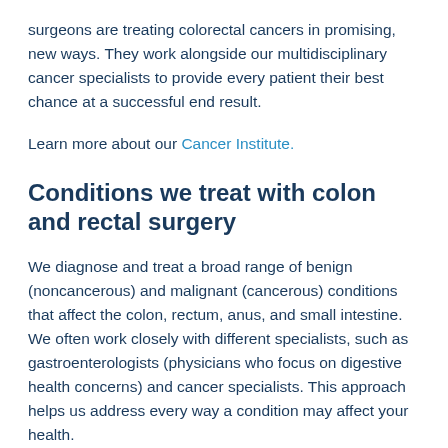surgeons are treating colorectal cancers in promising, new ways. They work alongside our multidisciplinary cancer specialists to provide every patient their best chance at a successful end result.
Learn more about our Cancer Institute.
Conditions we treat with colon and rectal surgery
We diagnose and treat a broad range of benign (noncancerous) and malignant (cancerous) conditions that affect the colon, rectum, anus, and small intestine. We often work closely with different specialists, such as gastroenterologists (physicians who focus on digestive health concerns) and cancer specialists. This approach helps us address every way a condition may affect your health.
Surgery can effectively treat many types of colon and